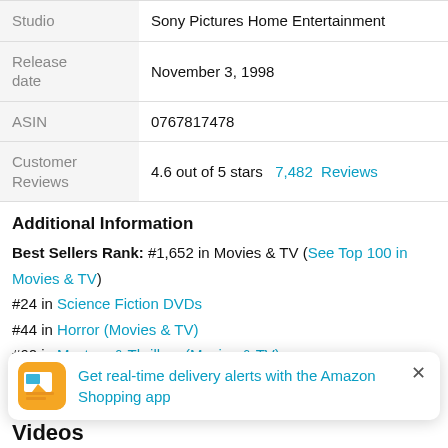| Field | Value |
| --- | --- |
| Studio | Sony Pictures Home Entertainment |
| Release date | November 3, 1998 |
| ASIN | 0767817478 |
| Customer Reviews | 4.6 out of 5 stars  7,482  Reviews |
Additional Information
Best Sellers Rank: #1,652 in Movies & TV (See Top 100 in Movies & TV)
#24 in Science Fiction DVDs
#44 in Horror (Movies & TV)
#60 in Mystery & Thrillers (Movies & TV)
Get real-time delivery alerts with the Amazon Shopping app
Videos